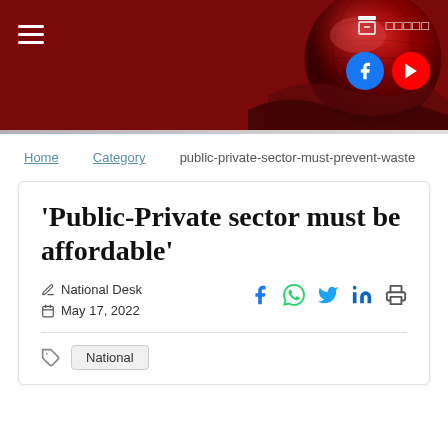[Figure (illustration): Dark red website header banner with a globe graphic on the right, hamburger menu icon on the left, Facebook and YouTube social media icons, and a row of dots/menu items at the top right]
Home  Category  public-private-sector-must-prevent-waste
'Public-Private sector must be affordable'
National Desk
May 17, 2022
National